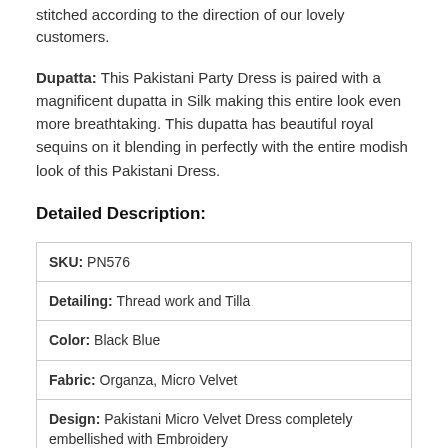stitched according to the direction of our lovely customers.
Dupatta: This Pakistani Party Dress is paired with a magnificent dupatta in Silk making this entire look even more breathtaking. This dupatta has beautiful royal sequins on it blending in perfectly with the entire modish look of this Pakistani Dress.
Detailed Description:
| SKU: PN576 |
| Detailing: Thread work and Tilla |
| Color: Black Blue |
| Fabric: Organza, Micro Velvet |
| Design: Pakistani Micro Velvet Dress completely embellished with Embroidery |
| Event: Festive, Party wear |